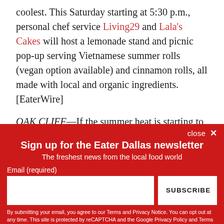coolest. This Saturday starting at 5:30 p.m., personal chef service Living29 and Lala's Cakes will host a lemonade stand and picnic pop-up serving Vietnamese summer rolls (vegan option available) and cinnamon rolls, all made with local and organic ingredients. [EaterWire]
OAK CLIFF—If the summer heat is starting to get to you already, perhaps this will help: This Saturday night Melt Ice
[Figure (screenshot): Newsletter signup overlay with red background. Title: 'Sign up for the Eater Dallas newsletter'. Subtitle: 'The freshest news from the local food world'. Email input field and SUBSCRIBE button. Legal disclaimer text below.]